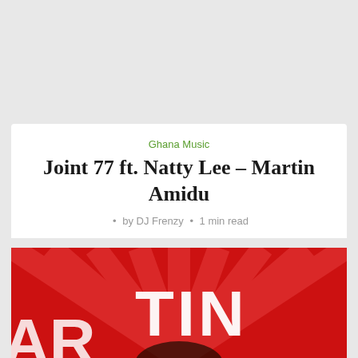Ghana Music
Joint 77 ft. Natty Lee – Martin Amidu
• by DJ Frenzy • 1 min read
[Figure (photo): Red background with radial sunburst pattern and large white text reading 'MARTIN AMIDU', with a person partially visible at the bottom. A WhatsApp button icon appears in the bottom right.]